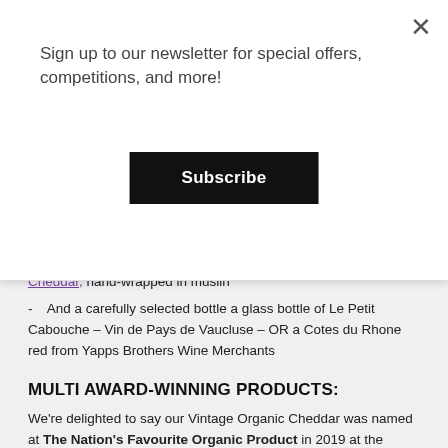Sign up to our newsletter for special offers, competitions, and more!
Subscribe
- Cheddar, hand-wrapped in muslin
- And a carefully selected bottle a glass bottle of Le Petit Cabouche – Vin de Pays de Vaucluse – OR a Cotes du Rhone red from Yapps Brothers Wine Merchants
MULTI AWARD-WINNING PRODUCTS:
We're delighted to say our Vintage Organic Cheddar was named at The Nation's Favourite Organic Product in 2019 at the BOOM Awards hosted by the Soil Association thanks to votes from the general public, making it the ideal addition to our wine and cheese gift set!
We make our cheddar to a traditional 90-year-old recipe and